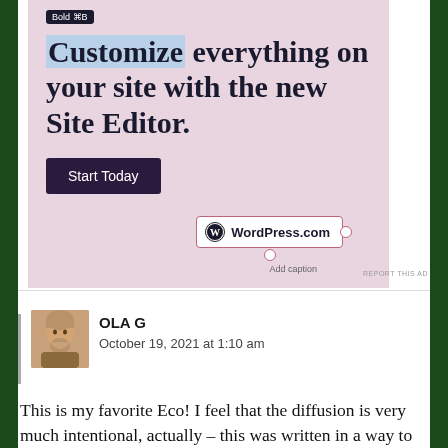[Figure (screenshot): WordPress.com advertisement with pink/mauve background showing 'Customize everything on your site with the new Site Editor.' headline, a 'Start Today' dark button, and WordPress.com logo with a tooltip reading 'Bold ⌘B' and 'Add caption' text below the logo box.]
REPORT THIS AD
OLA G
October 19, 2021 at 1:10 am
This is my favorite Eco! I feel that the diffusion is very much intentional, actually – this was written in a way to make and not make sense simultaneously, in a conversation with the reader,